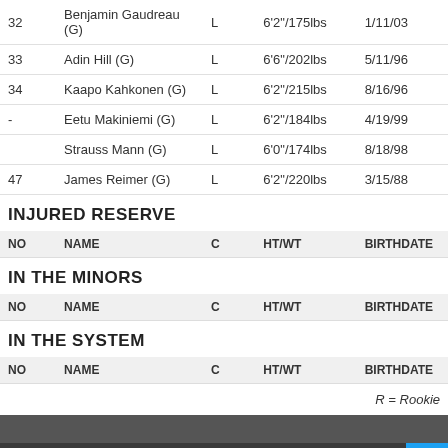| NO | NAME | C | HT/WT | BIRTHDATE |
| --- | --- | --- | --- | --- |
| 32 | Benjamin Gaudreau (G) | L | 6'2"/175lbs | 1/11/03 |
| 33 | Adin Hill (G) | L | 6'6"/202lbs | 5/11/96 |
| 34 | Kaapo Kahkonen (G) | L | 6'2"/215lbs | 8/16/96 |
| - | Eetu Makiniemi (G) | L | 6'2"/184lbs | 4/19/99 |
|  | Strauss Mann (G) | L | 6'0"/174lbs | 8/18/98 |
| 47 | James Reimer (G) | L | 6'2"/220lbs | 3/15/88 |
INJURED RESERVE
| NO | NAME | C | HT/WT | BIRTHDATE |
| --- | --- | --- | --- | --- |
IN THE MINORS
| NO | NAME | C | HT/WT | BIRTHDATE |
| --- | --- | --- | --- | --- |
IN THE SYSTEM
| NO | NAME | C | HT/WT | BIRTHDATE |
| --- | --- | --- | --- | --- |
R = Rookie
RECENT TWEETS